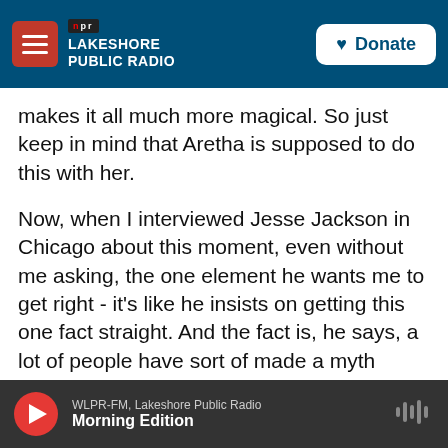NPR Lakeshore Public Radio | Donate
makes it all much more magical. So just keep in mind that Aretha is supposed to do this with her.
Now, when I interviewed Jesse Jackson in Chicago about this moment, even without me asking, the one element he wants me to get right - it's like he insists on getting this one fact straight. And the fact is, he says, a lot of people have sort of made a myth about what had happened April 3, 1968, which is the night before, where he gives the mountaintop speech, which feels like - he almost has a premonition that he might not make it. You know, he does this speech where, like, you know
WLPR-FM, Lakeshore Public Radio | Morning Edition